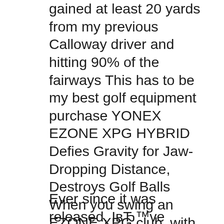gained at least 20 yards from my previous Calloway driver and hitting 90% of the fairways This has to be my best golf equipment purchase YONEX EZONE XPG HYBRID Defies Gravity for Jaw-Dropping Distance, Destroys Golf Balls When you swing an EZONE XPG club, with its ball-cracking Carbon Graphite crown and YONEX Dual Tungsten Power (DTP) System, youвЂ™re gonna need more balls.
Ever since it was released, IвЂ™ve wanted to try the Yonex EZONE Type 380. Similar to most drivers released in Japan, the price tag was way out of my budget (~$800). Without being able to try it first, there was no way I was going